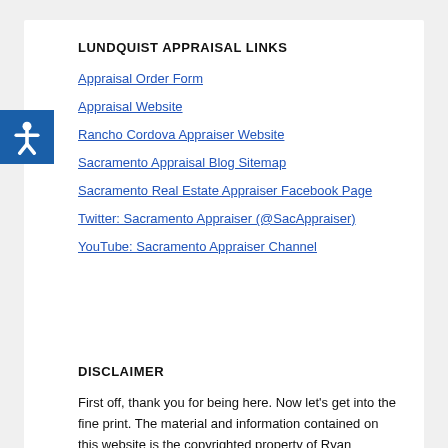LUNDQUIST APPRAISAL LINKS
Appraisal Order Form
Appraisal Website
Rancho Cordova Appraiser Website
Sacramento Appraisal Blog Sitemap
Sacramento Real Estate Appraiser Facebook Page
Twitter: Sacramento Appraiser (@SacAppraiser)
YouTube: Sacramento Appraiser Channel
DISCLAIMER
First off, thank you for being here. Now let's get into the fine print. The material and information contained on this website is the copyrighted property of Ryan Lundquist and Lundquist Appraisal Company. Content on this website may not be reproduced or republished without